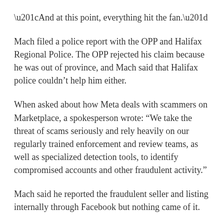“And at this point, everything hit the fan.”
Mach filed a police report with the OPP and Halifax Regional Police. The OPP rejected his claim because he was out of province, and Mach said that Halifax police couldn’t help him either.
When asked about how Meta deals with scammers on Marketplace, a spokesperson wrote: “We take the threat of scams seriously and rely heavily on our regularly trained enforcement and review teams, as well as specialized detection tools, to identify compromised accounts and other fraudulent activity.”
Mach said he reported the fraudulent seller and listing internally through Facebook but nothing came of it.